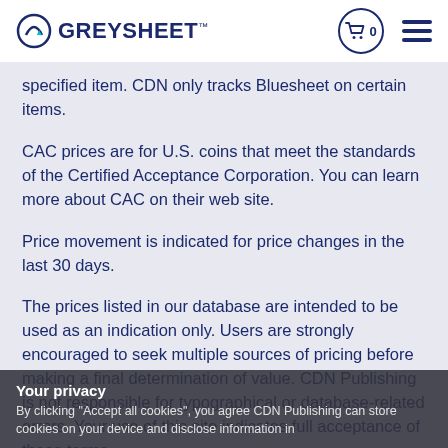GREYSHEET
specified item. CDN only tracks Bluesheet on certain items.
CAC prices are for U.S. coins that meet the standards of the Certified Acceptance Corporation. You can learn more about CAC on their web site.
Price movement is indicated for price changes in the last 30 days.
The prices listed in our database are intended to be used as an indication only. Users are strongly encouraged to seek multiple sources of pricing before making a final determination of value. CDN Publishing is not responsible for typographical or database-related errors. Your use of this site indicates full acceptance of these terms.
Your privacy
By clicking "Accept all cookies", you agree CDN Publishing can store cookies on your device and disclose information in